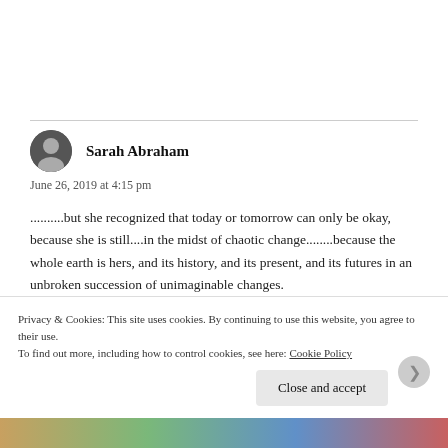Sarah Abraham
June 26, 2019 at 4:15 pm
..........but she recognized that today or tomorrow can only be okay, because she is still....in the midst of chaotic change........because the whole earth is hers, and its history, and its present, and its futures in an unbroken succession of unimaginable changes.
Privacy & Cookies: This site uses cookies. By continuing to use this website, you agree to their use. To find out more, including how to control cookies, see here: Cookie Policy
Close and accept